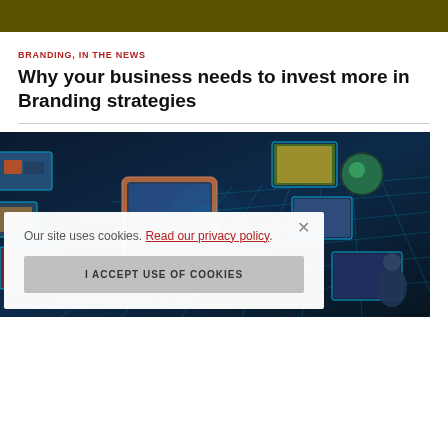[Figure (other): Dark olive/gold colored header bar spanning full width]
BRANDING, IN THE NEWS
Why your business needs to invest more in Branding strategies
[Figure (photo): Digital media technology image showing floating screens and holograms in a futuristic 3D grid environment with blue lighting]
Our site uses cookies. Read our privacy policy.
I ACCEPT USE OF COOKIES